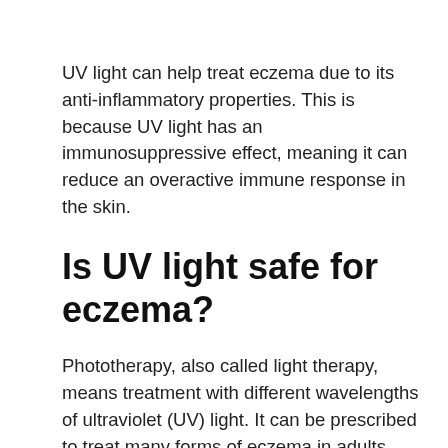UV light can help treat eczema due to its anti-inflammatory properties. This is because UV light has an immunosuppressive effect, meaning it can reduce an overactive immune response in the skin.
Is UV light safe for eczema?
Phototherapy, also called light therapy, means treatment with different wavelengths of ultraviolet (UV) light. It can be prescribed to treat many forms of eczema in adults and children and helps to reduce itch and inflammation.
How does UV help eczema?